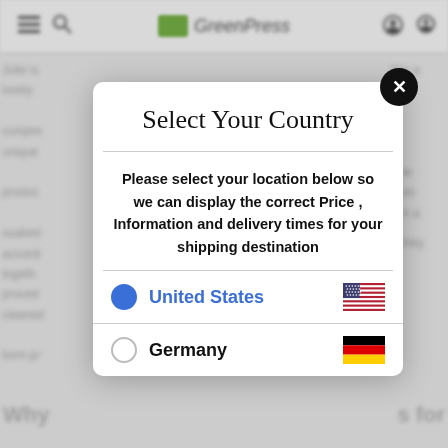[Figure (screenshot): Blurred website background with header navigation bar containing hamburger menu, search icon, GreenPace logo, and account icons. Background shows blurred article text on left and right sides.]
Select Your Country
Please select your location below so we can display the correct Price , Information and delivery times for your shipping destination
United States
Germany